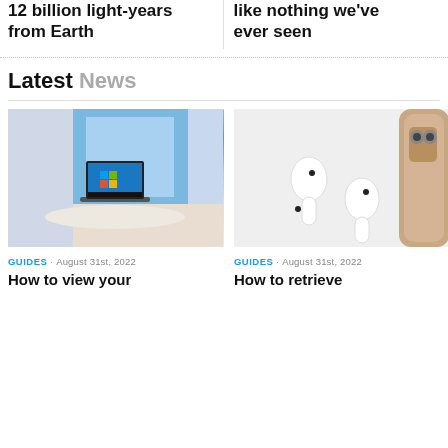12 billion light-years from Earth
like nothing we've ever seen
Latest News
[Figure (photo): Laptop with Windows 11 interface on screen, set against a blue and pastel geometric background]
GUIDES · August 31st, 2022
How to view your
[Figure (photo): Apple AirPods and iPhone on a light gray background]
GUIDES · August 31st, 2022
How to retrieve